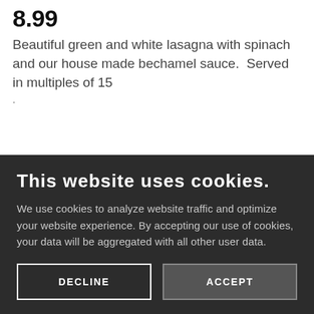8.99
Beautiful green and white lasagna with spinach and our house made bechamel sauce.  Served in multiples of 15
This website uses cookies.
We use cookies to analyze website traffic and optimize your website experience. By accepting our use of cookies, your data will be aggregated with all other user data.